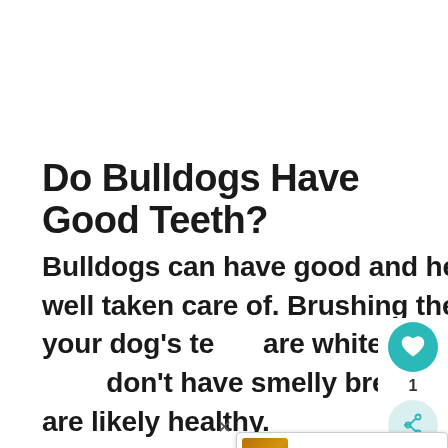Do Bulldogs Have Good Teeth?
Bulldogs can have good and healthy teeth if they are well taken care of. Brushing them daily is important. If your dog's teeth are white, their gums are pink, and they don't have smelly breath then your Bulldog's teeth are likely healthy.